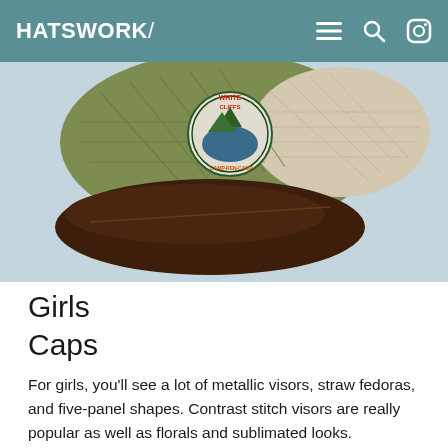HATSWORK
[Figure (photo): Close-up photo of a quilted olive/khaki and mesh trucker cap with a dark brown brim and a circular embroidered patch logo, displayed on a light blue background.]
Girls
Caps
For girls, you’ll see a lot of metallic visors, straw fedoras, and five-panel shapes. Contrast stitch visors are really popular as well as florals and sublimated looks.
Patterns